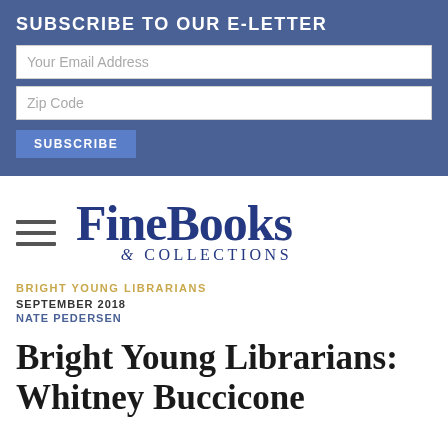SUBSCRIBE TO OUR E-LETTER
[Figure (logo): FineBooks & Collections logo with hamburger menu icon]
BRIGHT YOUNG LIBRARIANS
SEPTEMBER 2018
NATE PEDERSEN
Bright Young Librarians: Whitney Buccicone